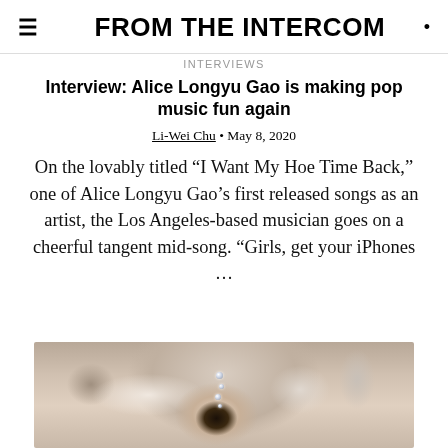FROM THE INTERCOM
INTERVIEWS
Interview: Alice Longyu Gao is making pop music fun again
Li-Wei Chu • May 8, 2020
On the lovably titled “I Want My Hoe Time Back,” one of Alice Longyu Gao’s first released songs as an artist, the Los Angeles-based musician goes on a cheerful tangent mid-song. “Girls, get your iPhones …
[Figure (photo): Close-up photo of Alice Longyu Gao's eye with decorative gems/rhinestones on her face, with light-colored hair and elaborate makeup]